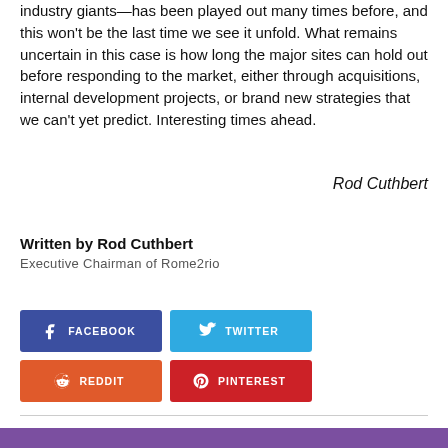industry giants—has been played out many times before, and this won't be the last time we see it unfold. What remains uncertain in this case is how long the major sites can hold out before responding to the market, either through acquisitions, internal development projects, or brand new strategies that we can't yet predict. Interesting times ahead.
Rod Cuthbert
Written by Rod Cuthbert
Executive Chairman of Rome2rio
[Figure (infographic): Social sharing buttons: Facebook (dark blue), Twitter (light blue), Reddit (orange), Pinterest (red)]